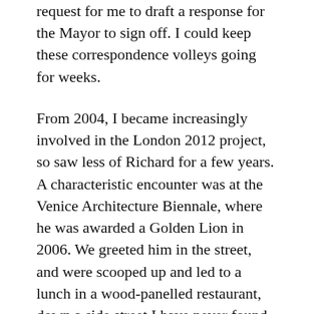request for me to draft a response for the Mayor to sign off. I could keep these correspondence volleys going for weeks.
From 2004, I became increasingly involved in the London 2012 project, so saw less of Richard for a few years. A characteristic encounter was at the Venice Architecture Biennale, where he was awarded a Golden Lion in 2006. We greeted him in the street, and were scooped up and led to a lunch in a wood-panelled restaurant, down a side street I have never found since.
Flying back that evening, we were on the same plane as Richard and Ruthie, though they were in Business Class. I said hello as we got on, and expected they'd be long gone by the time we